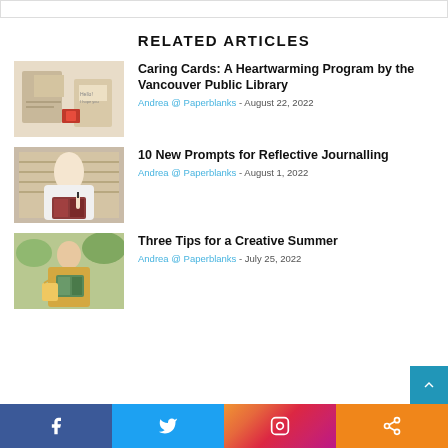RELATED ARTICLES
[Figure (photo): Photo of greeting cards and notebooks on a table]
Caring Cards: A Heartwarming Program by the Vancouver Public Library
Andrea @ Paperblanks - August 22, 2022
[Figure (photo): Woman in white shirt writing in a journal]
10 New Prompts for Reflective Journalling
Andrea @ Paperblanks - August 1, 2022
[Figure (photo): Woman holding a decorative book outdoors]
Three Tips for a Creative Summer
Andrea @ Paperblanks - July 25, 2022
Facebook | Twitter | Instagram | Share